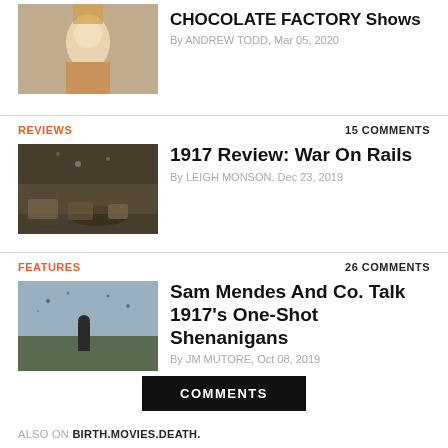[Figure (photo): Willy Wonka Chocolate Factory article thumbnail - person in costume]
CHOCOLATE FACTORY Shows
By ANDREW TODD, Mar 05, 2020
REVIEWS
15 COMMENTS
[Figure (photo): 1917 movie still - soldiers crawling on ground]
1917 Review: War On Rails
By LEIGH MONSON, Dec 23, 2019
FEATURES
26 COMMENTS
[Figure (photo): 1917 movie still - soldier standing looking at sky]
Sam Mendes And Co. Talk 1917's One-Shot Shenanigans
By JM MUTORE, Oct 08, 2019
COMMENTS
ALSO ON BIRTH.MOVIES.DEATH.